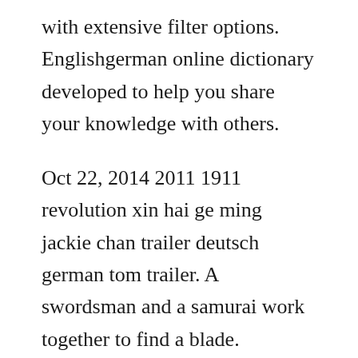with extensive filter options. Englishgerman online dictionary developed to help you share your knowledge with others.
Oct 22, 2014 2011 1911 revolution xin hai ge ming jackie chan trailer deutsch german tom trailer. A swordsman and a samurai work together to find a blade. According to yang jian 1991, the ccp quickly established its control over the. A sword is a bladed weapon edged weapon used primarily for cutting or thrusting. Early film culture in hong kong, taiwan, and republican. For the liang dynasty